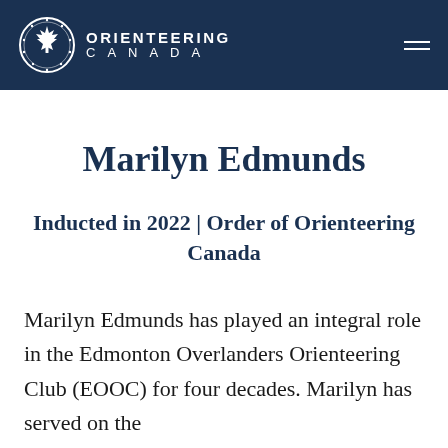ORIENTEERING CANADA
Marilyn Edmunds
Inducted in 2022 | Order of Orienteering Canada
Marilyn Edmunds has played an integral role in the Edmonton Overlanders Orienteering Club (EOOC) for four decades. Marilyn has served on the